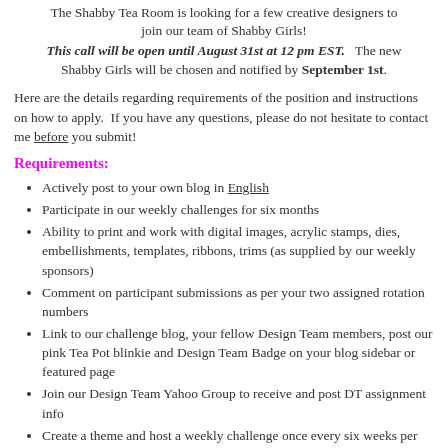The Shabby Tea Room is looking for a few creative designers to join our team of Shabby Girls!
This call will be open until August 31st at 12 pm EST.  The new Shabby Girls will be chosen and notified by September 1st.
Here are the details regarding requirements of the position and instructions on how to apply.  If you have any questions, please do not hesitate to contact me before you submit!
Requirements:
Actively post to your own blog in English
Participate in our weekly challenges for six months
Ability to print and work with digital images, acrylic stamps, dies, embellishments, templates, ribbons, trims (as supplied by our weekly sponsors)
Comment on participant submissions as per your two assigned rotation numbers
Link to our challenge blog, your fellow Design Team members, post our pink Tea Pot blinkie and Design Team Badge on your blog sidebar or featured page
Join our Design Team Yahoo Group to receive and post DT assignment info
Create a theme and host a weekly challenge once every six weeks per your DT rotation